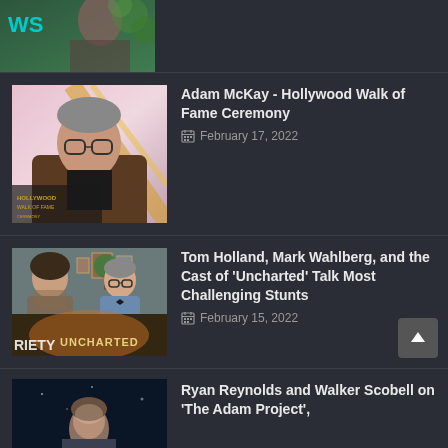[Figure (photo): Partial top article thumbnail showing 'WS' text overlay on a photo with a person]
[Figure (photo): Adam McKay Hollywood Walk of Fame Ceremony thumbnail with man in glasses and brown jacket, Hollywood Walk of Fame logo]
Adam McKay - Hollywood Walk of Fame Ceremony
February 17, 2022
[Figure (photo): Tom Holland, Mark Wahlberg and cast of Uncharted thumbnail, showing two men in interview setting with Uncharted movie banner below, Variety logo]
Tom Holland, Mark Wahlberg, and the Cast of 'Uncharted' Talk Most Challenging Stunts
February 15, 2022
[Figure (photo): Ryan Reynolds and Walker Scobell thumbnail showing person looking up in dark setting]
Ryan Reynolds and Walker Scobell on 'The Adam Project',